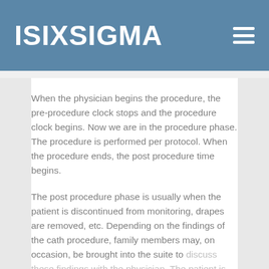ISIXSIGMA
When the physician begins the procedure, the pre-procedure clock stops and the procedure clock begins. Now we are in the procedure phase. The procedure is performed per protocol. When the procedure ends, the post procedure time begins.
The post procedure phase is usually when the patient is discontinued from monitoring, drapes are removed, etc. Depending on the findings of the cath procedure, family members may, on occasion, be brought into the suite to discuss these findings with the physician. The patient is then removed from the suite and the post procedure clock